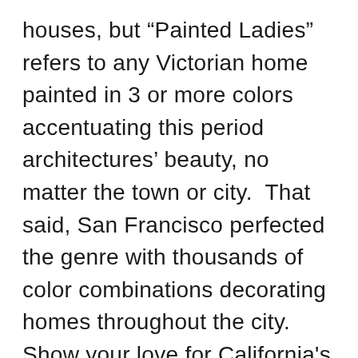houses, but “Painted Ladies” refers to any Victorian home painted in 3 or more colors accentuating this period architectures’ beauty, no matter the town or city.  That said, San Francisco perfected the genre with thousands of color combinations decorating homes throughout the city. Show your love for California's premier city with a short-sleeve San Francisco baby onsie featuring The Painted Ladies. JOOLcity loves these retro city infant bodysuits with famous San Francisco scenes for tourists as well as city proud people who love travel onesies. This San Francisco cool bodysuit with it's famous Victorian houses will be a